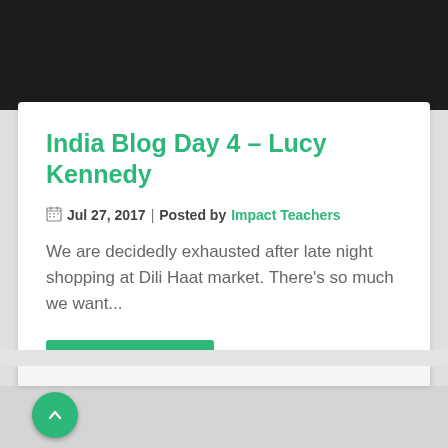India Blog Day 4 – Lucy Kennedy
📅 Jul 27, 2017 | Posted by Impact Teachers
We are decidedly exhausted after late night shopping at Dili Haat market. There's so much we want...
READ MORE